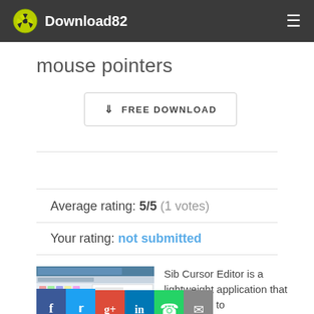Download82
mouse pointers
FREE DOWNLOAD
Average rating: 5/5 (1 votes)
Your rating: not submitted
[Figure (screenshot): Screenshot thumbnail of Sib Cursor Editor application window]
Sib Cursor Editor is a lightweight application that allows you to